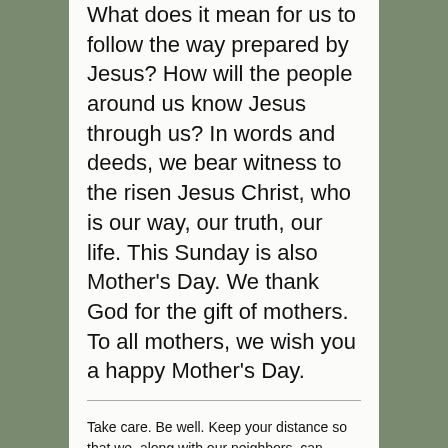What does it mean for us to follow the way prepared by Jesus? How will the people around us know Jesus through us? In words and deeds, we bear witness to the risen Jesus Christ, who is our way, our truth, our life. This Sunday is also Mother's Day. We thank God for the gift of mothers. To all mothers, we wish you a happy Mother's Day.
Take care. Be well. Keep your distance so that we, along with our neighbors, can together stay well and save lives.
With confidence and hope in the risen Jesus Christ.